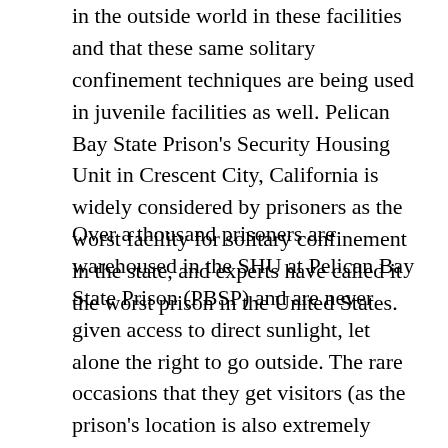in the outside world in these facilities and that these same solitary confinement techniques are being used in juvenile facilities as well. Pelican Bay State Prison's Security Housing Unit in Crescent City, California is widely considered by prisoners as the worst facility for solitary confinement in the state, and experts have called it the worst prison in the United States.
Over a thousand prisoners are warehoused in the SHU at Pelican Bay State Prison (PBSP) and are never given access to direct sunlight, let alone the right to go outside. The rare occasions that they get visitors (as the prison's location is also extremely isolated), it is limited to an hour and a half and there is a glass screen separating them. Prisoners are not only separated from the outside world but also from prison staff and fellow inmates. This kind of isolation, consisting of always being inside under artificial light and alone in a small cage 22 Â½ hours a day (for multiple decades sometimes), has severe